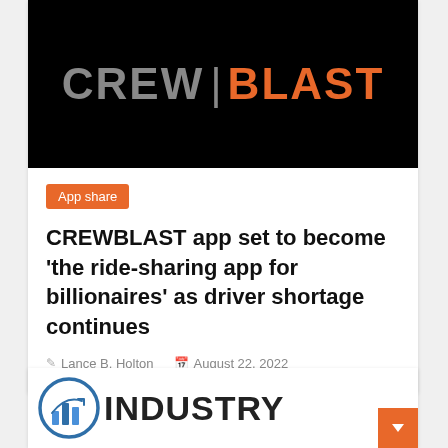[Figure (logo): CREW | BLAST logo on black background — CREW in gray, BLAST in orange]
App share
CREWBLAST app set to become ‘the ride-sharing app for billionaires’ as driver shortage continues
Lance B. Holton   August 22, 2022
[Figure (logo): Industry Research logo — circular chart icon with bar chart and arrow, text INDUSTRY partially visible]